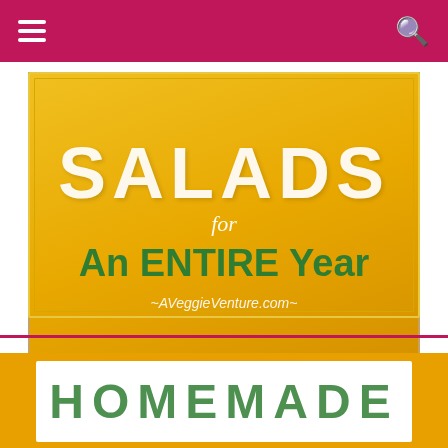navigation header with hamburger menu and search icon
[Figure (illustration): Salads for An ENTIRE Year banner image on golden/yellow background with decorative text. SALADS in large white letters, 'for' in italic white, 'An ENTIRE Year' in green bold text, and ~AVeggieVenture.com~ URL below. Surrounded by border box with months listed below.]
January ❖ February ❖ March ❖ April ❖ May ❖ June ❖ July ❖ August ❖ September ❖ October ❖ November ❖ December
[Figure (illustration): Bottom section showing start of another image/banner with orange background and white box containing green text starting with HOMEMADE]